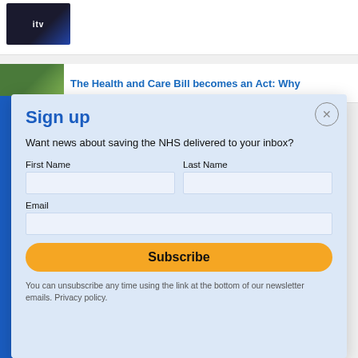[Figure (screenshot): Partially visible webpage showing a thumbnail and article title link in the background behind a modal overlay]
Sign up
Want news about saving the NHS delivered to your inbox?
First Name
Last Name
Email
Subscribe
You can unsubscribe any time using the link at the bottom of our newsletter emails. Privacy policy.